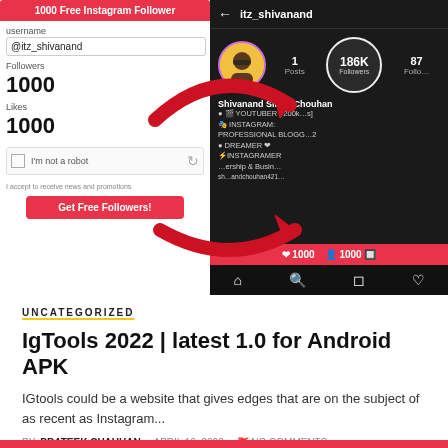[Figure (screenshot): Split screenshot: left side shows an Instagram follower tool website form with username @itz_shivanand, Followers 1000, Likes 1000, captcha, and Get Free Followers button. Right side shows an Instagram profile for itz_shivanand with 186K followers counter, bio showing Shivanand Singh Chouhan, YOUTUBER, INSTAGRAMER PROFESSIONAL BLOGGER, with red arrows pointing to follower counts.]
UNCATEGORIZED
IgTools 2022 | latest 1.0 for Android APK
IGtools could be a website that gives edges that are on the subject of as recent as Instagram...
BY PRATEEK CHAUHAN · APRIL 16, 2022 · NO COMMENTS